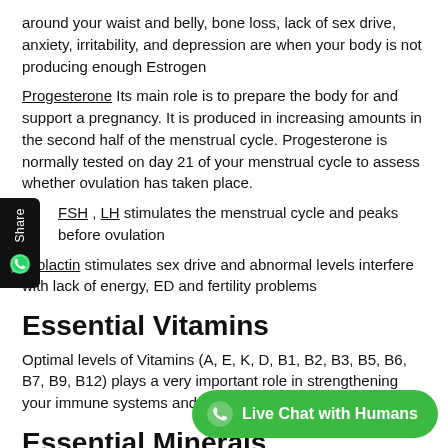around your waist and belly, bone loss, lack of sex drive, anxiety, irritability, and depression are when your body is not producing enough Estrogen
Progesterone Its main role is to prepare the body for and support a pregnancy. It is produced in increasing amounts in the second half of the menstrual cycle. Progesterone is normally tested on day 21 of your menstrual cycle to assess whether ovulation has taken place.
FSH , LH stimulates the menstrual cycle and peaks before ovulation
Prolactin stimulates sex drive and abnormal levels interfere with lack of energy, ED and fertility problems
Essential Vitamins
Optimal levels of Vitamins (A, E, K, D, B1, B2, B3, B5, B6, B7, B9, B12) plays a very important role in strengthening your immune systems and cell repair.
Essential Minerals